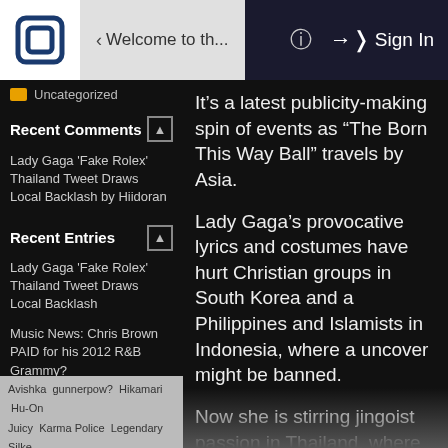< Welcome to th...   ? Sign In
Uncategorized
Recent Comments
Lady Gaga 'Fake Rolex' Thailand Tweet Draws Local Backlash by Hiidoran
Recent Entries
Lady Gaga 'Fake Rolex' Thailand Tweet Draws Local Backlash
Music News: Chris Brown PAID for his 2012 R&B Grammy?
Womans iPhone Gets Stolen, Thief Uploads Pics to her Photostream by Accident
Recent Visitors
It’s a latest publicity-making spin of events as “The Born This Way Ball” travels by Asia.
Lady Gaga’s provocative lyrics and costumes have hurt Christian groups in South Korea and a Philippines and Islamists in Indonesia, where a uncover might be banned.
Now she is stirring jingoist passion in Thailand, where people tend to get dissapoint when a country’s decrepit underworld is highlighted by outsiders
Avishka  gunnerpow?  Hikamari  Hu-On  Juicy  Karma Police  Legendary Silke  Livewire  Morkula  Mr Cat Dog  Nina